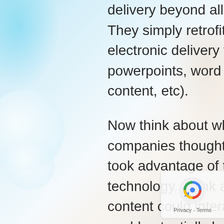delivery beyond alleviating these obvious issues. They simply retrofitted their previous content for electronic delivery via tablet (through pdf, powerpoints, word documents, existing web content, etc).
Now think about what could be possible if these companies thought about creating content that took advantage of the improvements in technology. Think about all the ways that various content could interact. Think about how content could potentially be created that is dynamic and allows salespeople to respond to expressed customer needs with specialized information that is more pertinent to those specific needs (the “landing pages” of next-gen content delivery). Think about how content delivery could become both more fluid and functional. These kinds of questions represent some of the forward thinking